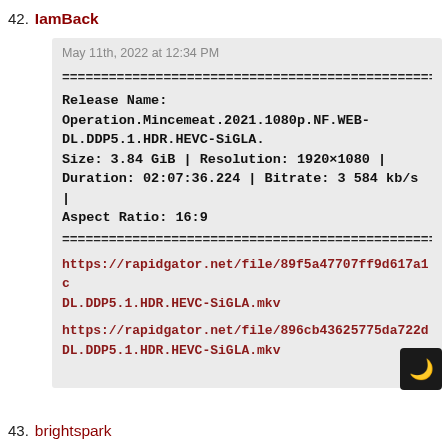42.  IamBack
May 11th, 2022 at 12:34 PM
================================================
Release Name:
Operation.Mincemeat.2021.1080p.NF.WEB-DL.DDP5.1.HDR.HEVC-SiGLA.
Size: 3.84 GiB | Resolution: 1920×1080 |
Duration: 02:07:36.224 | Bitrate: 3 584 kb/s |
Aspect Ratio: 16:9
================================================
https://rapidgator.net/file/89f5a47707ff9d617a1c DL.DDP5.1.HDR.HEVC-SiGLA.mkv
https://rapidgator.net/file/896cb43625775da722d DL.DDP5.1.HDR.HEVC-SiGLA.mkv
43.  brightspark